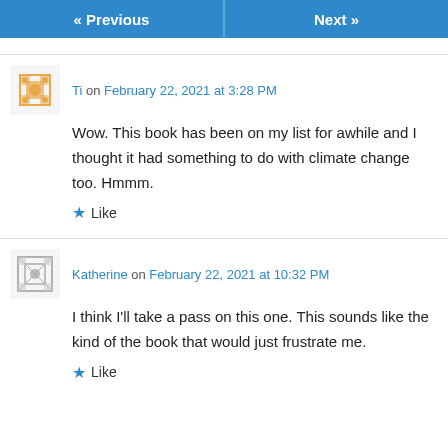« Previous   Next »
Ti on February 22, 2021 at 3:28 PM
Wow. This book has been on my list for awhile and I thought it had something to do with climate change too. Hmmm.
★ Like
Katherine on February 22, 2021 at 10:32 PM
I think I'll take a pass on this one. This sounds like the kind of the book that would just frustrate me.
★ Like